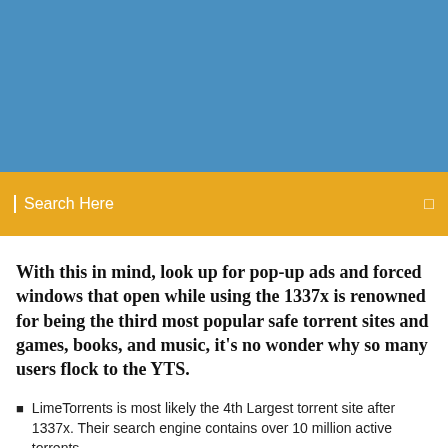[Figure (other): Blue banner/header area at top of webpage screenshot]
Search Here
With this in mind, look up for pop-up ads and forced windows that open while using the 1337x is renowned for being the third most popular safe torrent sites and games, books, and music, it's no wonder why so many users flock to the YTS.
LimeTorrents is most likely the 4th Largest torrent site after 1337x. Their search engine contains over 10 million active torrents,